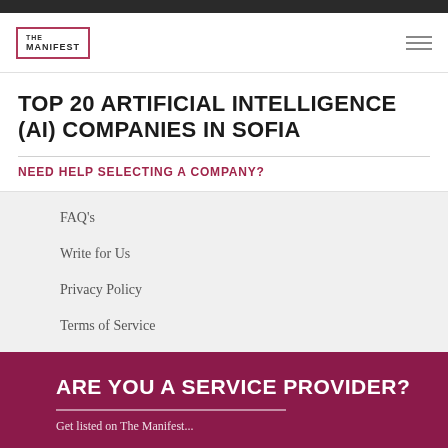[Figure (logo): The Manifest logo — square border with THE MANIFEST text]
TOP 20 ARTIFICIAL INTELLIGENCE (AI) COMPANIES IN SOFIA
NEED HELP SELECTING A COMPANY?
FAQ's
Write for Us
Privacy Policy
Terms of Service
ARE YOU A SERVICE PROVIDER?